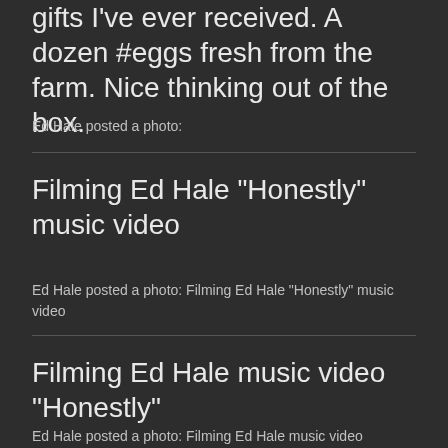gifts I've ever received. A dozen #eggs fresh from the farm. Nice thinking out of the box.
Ed Hale posted a photo:
Filming Ed Hale "Honestly" music video
Ed Hale posted a photo: Filming Ed Hale "Honestly" music video
Filming Ed Hale music video "Honestly"
Ed Hale posted a photo: Filming Ed Hale music video